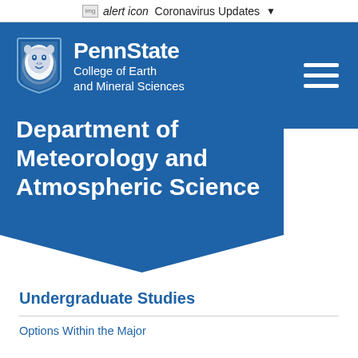alert icon  Coronavirus Updates ▼
[Figure (logo): Penn State College of Earth and Mineral Sciences shield logo with lion mascot in blue and white]
PennState College of Earth and Mineral Sciences
Department of Meteorology and Atmospheric Science
Undergraduate Studies
Options Within the Major